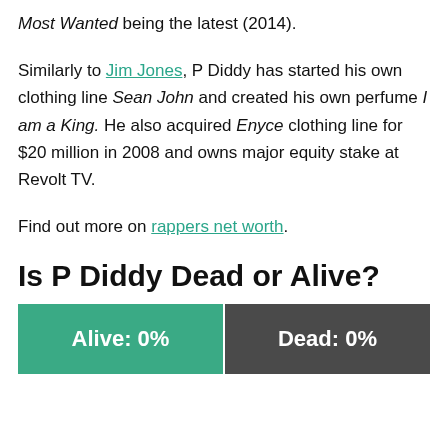Most Wanted being the latest (2014).
Similarly to Jim Jones, P Diddy has started his own clothing line Sean John and created his own perfume I am a King. He also acquired Enyce clothing line for $20 million in 2008 and owns major equity stake at Revolt TV.
Find out more on rappers net worth.
Is P Diddy Dead or Alive?
| Alive: 0% | Dead: 0% |